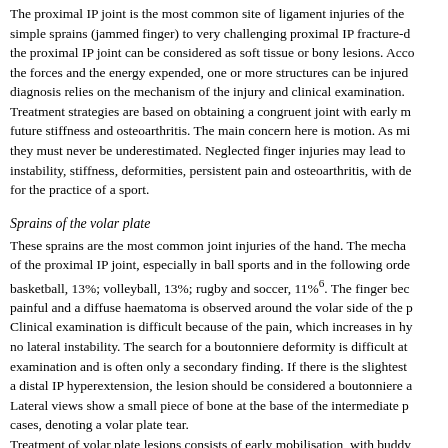The proximal IP joint is the most common site of ligament injuries of the simple sprains (jammed finger) to very challenging proximal IP fracture-d the proximal IP joint can be considered as soft tissue or bony lesions. Acco the forces and the energy expended, one or more structures can be injured diagnosis relies on the mechanism of the injury and clinical examination. Treatment strategies are based on obtaining a congruent joint with early m future stiffness and osteoarthritis. The main concern here is motion. As mi they must never be underestimated. Neglected finger injuries may lead to instability, stiffness, deformities, persistent pain and osteoarthritis, with de for the practice of a sport.
Sprains of the volar plate
These sprains are the most common joint injuries of the hand. The mecha of the proximal IP joint, especially in ball sports and in the following orde basketball, 13%; volleyball, 13%; rugby and soccer, 11%6. The finger bec painful and a diffuse haematoma is observed around the volar side of the p Clinical examination is difficult because of the pain, which increases in hy no lateral instability. The search for a boutonniere deformity is difficult at examination and is often only a secondary finding. If there is the slightest a distal IP hyperextension, the lesion should be considered a boutonniere a Lateral views show a small piece of bone at the base of the intermediate p cases, denoting a volar plate tear. Treatment of volar plate lesions consists of early mobilisation, with buddy presence of a bone fragment. The return to sport is not possible before six mobilisation, a deficit in proximal IP joint extension may appear due to re plate. A dynamic splint (e.g., Cappener) and specialised rehabilitation are